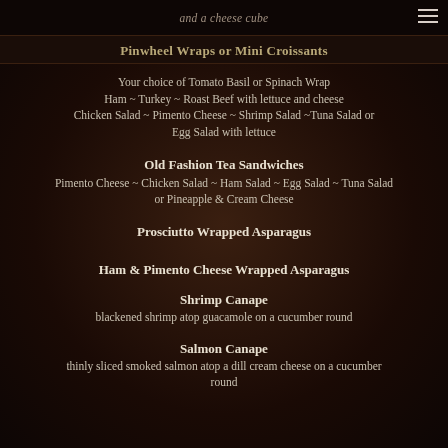and a cheese cube
Pinwheel Wraps or Mini Croissants
Your choice of Tomato Basil or Spinach Wrap
Ham ~ Turkey ~ Roast Beef with lettuce and cheese
Chicken Salad ~ Pimento Cheese ~ Shrimp Salad ~Tuna Salad or Egg Salad with lettuce
Old Fashion Tea Sandwiches
Pimento Cheese ~ Chicken Salad ~ Ham Salad ~ Egg Salad ~ Tuna Salad
or Pineapple & Cream Cheese
Prosciutto Wrapped Asparagus
Ham & Pimento Cheese Wrapped Asparagus
Shrimp Canape
blackened shrimp atop guacamole on a cucumber round
Salmon Canape
thinly sliced smoked salmon atop a dill cream cheese on a cucumber round